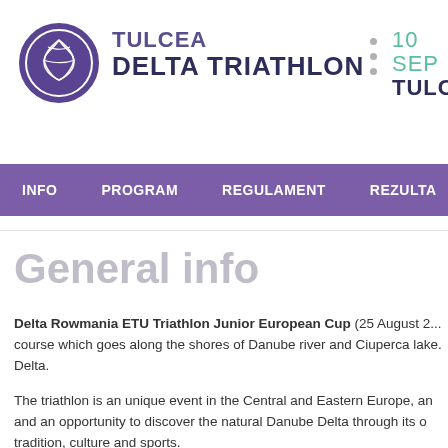[Figure (logo): Tulcea Delta Triathlon circular logo with floral/leaf motif in purple/dark blue]
TULCEA DELTA TRIATHLON
10 SEP TULCE
INFO  PROGRAM  REGULAMENT  REZULTA
General info
Delta Rowmania ETU Triathlon Junior European Cup (25 August 2...) course which goes along the shores of Danube river and Ciuperca lake. Delta.
The triathlon is an unique event in the Central and Eastern Europe, an and an opportunity to discover the natural Danube Delta through its o tradition, culture and sports.
The triathlon in Tulcea was initiated by Mr. Ivan Patzaichin, one of the Mila 23, a village in the Delta. Mr. Patazaichin is dedicated to the Danuk